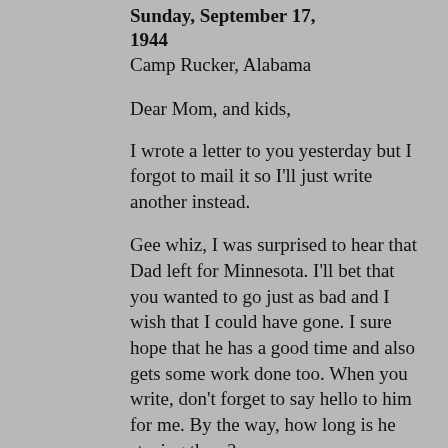Sunday, September 17, 1944
Camp Rucker, Alabama
Dear Mom, and kids,
I wrote a letter to you yesterday but I forgot to mail it so I'll just write another instead.
Gee whiz, I was surprised to hear that Dad left for Minnesota. I'll bet that you wanted to go just as bad and I wish that I could have gone. I sure hope that he has a good time and also gets some work done too. When you write, don't forget to say hello to him for me. By the way, how long is he staying there?
You know, I've been doing so much work lately (driving) that I'm sick. I'm working all